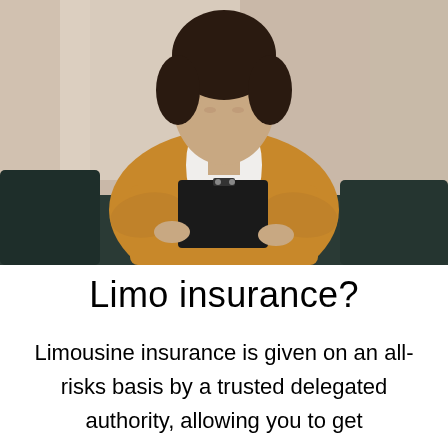[Figure (photo): A woman in a tan/camel blazer over a white shirt, holding a black clipboard, seated on a dark sofa. Background shows curtains and interior decor.]
Limo insurance?
Limousine insurance is given on an all-risks basis by a trusted delegated authority, allowing you to get